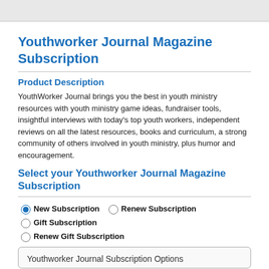[Figure (other): Gray banner/header area at top of page]
Youthworker Journal Magazine Subscription
Product Description
YouthWorker Journal brings you the best in youth ministry resources with youth ministry game ideas, fundraiser tools, insightful interviews with today's top youth workers, independent reviews on all the latest resources, books and curriculum, a strong community of others involved in youth ministry, plus humor and encouragement.
Select your Youthworker Journal Magazine Subscription
New Subscription (selected)
Renew Subscription
Gift Subscription
Renew Gift Subscription
Youthworker Journal Subscription Options